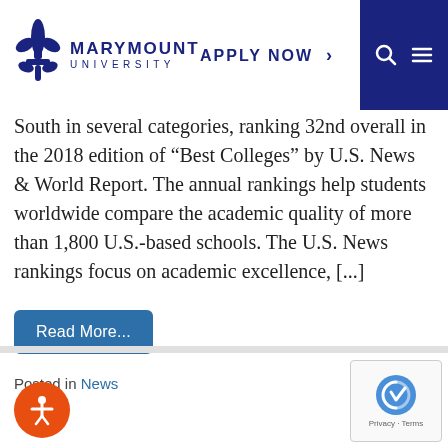Marymount University — APPLY NOW
South in several categories, ranking 32nd overall in the 2018 edition of “Best Colleges” by U.S. News & World Report. The annual rankings help students worldwide compare the academic quality of more than 1,800 U.S.-based schools. The U.S. News rankings focus on academic excellence, [...]
Read More...
Posted in News